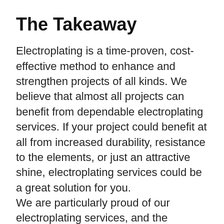The Takeaway
Electroplating is a time-proven, cost-effective method to enhance and strengthen projects of all kinds. We believe that almost all projects can benefit from dependable electroplating services. If your project could benefit at all from increased durability, resistance to the elements, or just an attractive shine, electroplating services could be a great solution for you. We are particularly proud of our electroplating services, and the benefits we can provide. Request a quote from us today, and we can tell you exactly how the electroplating process can give your projects an advantage. We can offer you professional advice on what metals we recommend and what features would be most advantageous for your work in particular.